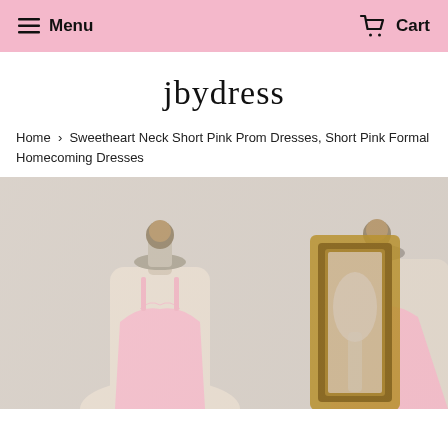Menu   Cart
jbydress
Home › Sweetheart Neck Short Pink Prom Dresses, Short Pink Formal Homecoming Dresses
[Figure (photo): Two dress mannequin forms wearing a light pink sweetheart-neck dress, with a gold-framed mirror in the background.]